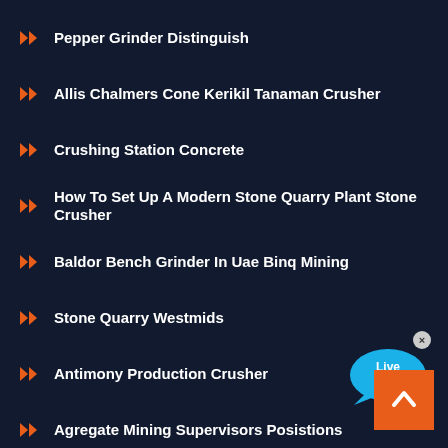Pepper Grinder Distinguish
Allis Chalmers Cone Kerikil Tanaman Crusher
Crushing Station Concrete
How To Set Up A Modern Stone Quarry Plant Stone Crusher
Baldor Bench Grinder In Uae Binq Mining
Stone Quarry Westmids
Antimony Production Crusher
Agregate Mining Supervisors Posistions
Tissue Grinder Laboratory Procedure
Meat Grinder Adjusting